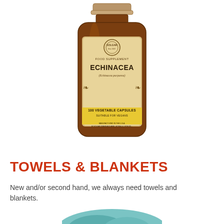[Figure (photo): A brown glass jar of Solgar Echinacea food supplement, 100 vegetable capsules, suitable for vegans. The label reads 'FOOD SUPPLEMENT ECHINACEA (Echinacea purpurea) 100 VEGETABLE CAPSULES SUITABLE FOR VEGANS'.]
TOWELS & BLANKETS
New and/or second hand, we always need towels and blankets.
[Figure (photo): Partial view of teal/turquoise colored towels or blankets at the bottom of the page.]